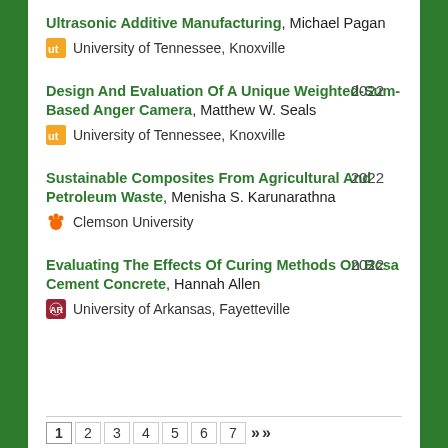Ultrasonic Additive Manufacturing, Michael Pagan — University of Tennessee, Knoxville
Design And Evaluation Of A Unique Weighted-Sum-Based Anger Camera, Matthew W. Seals — University of Tennessee, Knoxville — 2022
Sustainable Composites From Agricultural And Petroleum Waste, Menisha S. Karunarathna — Clemson University — 2022
Evaluating The Effects Of Curing Methods On Bcsa Cement Concrete, Hannah Allen — University of Arkansas, Fayetteville — 2022
1 2 3 4 5 6 7 >> >>